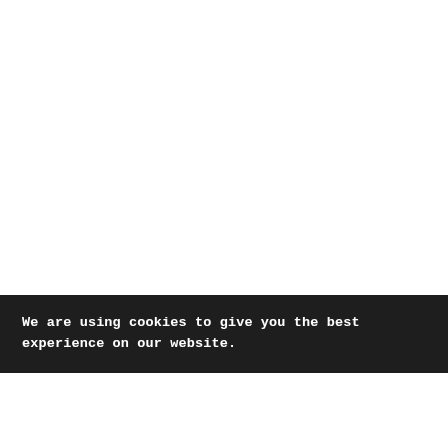We are using cookies to give you the best experience on our website.